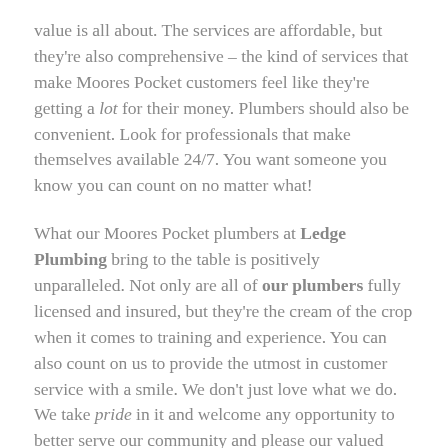value is all about. The services are affordable, but they're also comprehensive – the kind of services that make Moores Pocket customers feel like they're getting a lot for their money. Plumbers should also be convenient. Look for professionals that make themselves available 24/7. You want someone you know you can count on no matter what!
What our Moores Pocket plumbers at Ledge Plumbing bring to the table is positively unparalleled. Not only are all of our plumbers fully licensed and insured, but they're the cream of the crop when it comes to training and experience. You can also count on us to provide the utmost in customer service with a smile. We don't just love what we do. We take pride in it and welcome any opportunity to better serve our community and please our valued customers in Moores Pocket.